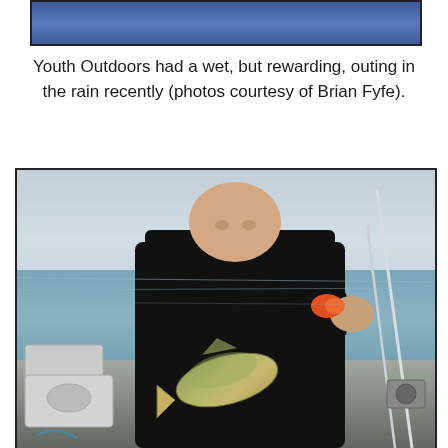[Figure (photo): Top portion of a photo showing blue clothing or rain gear, partially cropped at the top of the page]
Youth Outdoors had a wet, but rewarding, outing in the rain recently (photos courtesy of Brian Fyfe).
[Figure (photo): A bald man in a black hoodie standing on a boat on open water, holding a large fish (appears to be a walleye or bass) up toward the camera. Fishing rods visible on the right side of the boat. Overcast sky and calm water in the background.]